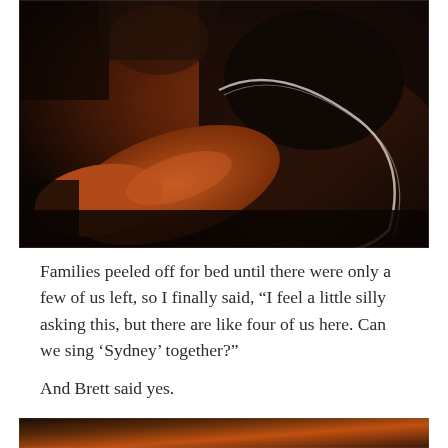[Figure (photo): Dark, warm-toned photograph of someone playing an acoustic guitar, close-up showing arms and the guitar body with a white binding, low-light indoor setting with reddish-orange ambient light]
Families peeled off for bed until there were only a few of us left, so I finally said, “I feel a little silly asking this, but there are like four of us here. Can we sing ‘Sydney’ together?”
And Brett said yes.
[Figure (photo): Partial view of another dark photograph at the bottom of the page, showing warm orange/red tones, similar low-light setting]